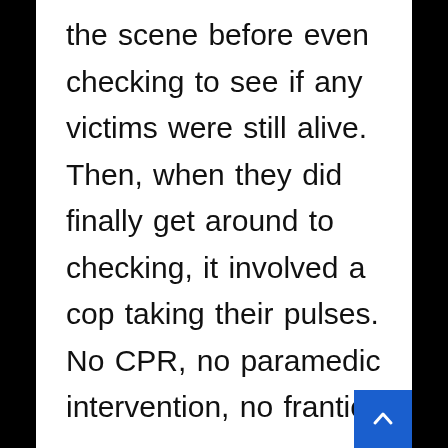the scene before even checking to see if any victims were still alive. Then, when they did finally get around to checking, it involved a cop taking their pulses. No CPR, no paramedic intervention, no frantic